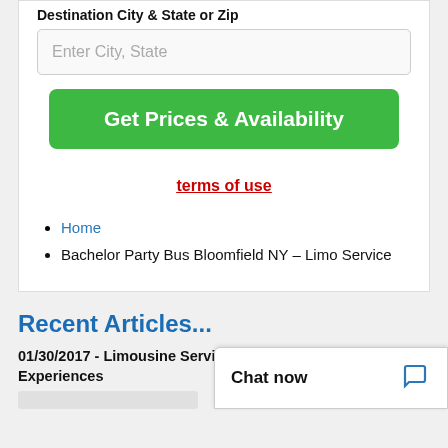Destination City & State or Zip
Enter City, State
Get Prices & Availability
terms of use
Home
Bachelor Party Bus Bloomfield NY – Limo Service
Recent Articles...
01/30/2017 - Limousine Services For Distinctive Experiences
Chat now